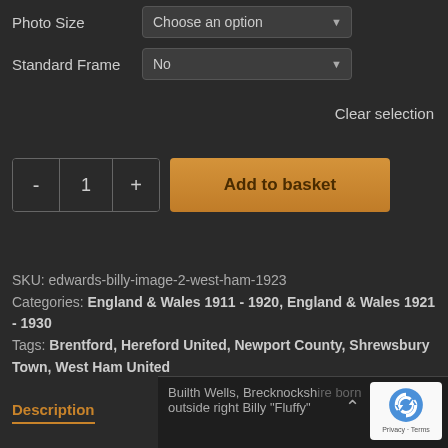Photo Size   Choose an option
Standard Frame   No
Clear selection
- 1 + Add to basket
SKU: edwards-billy-image-2-west-ham-1923
Categories: England & Wales 1911 - 1920, England & Wales 1921 - 1930
Tags: Brentford, Hereford United, Newport County, Shrewsbury Town, West Ham United
Description
Builth Wells, Brecknockshire born outside right Billy "Fluffy"